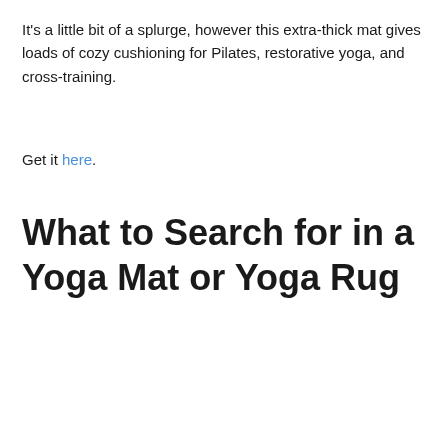It's a little bit of a splurge, however this extra-thick mat gives loads of cozy cushioning for Pilates, restorative yoga, and cross-training.
Get it here.
What to Search for in a Yoga Mat or Yoga Rug